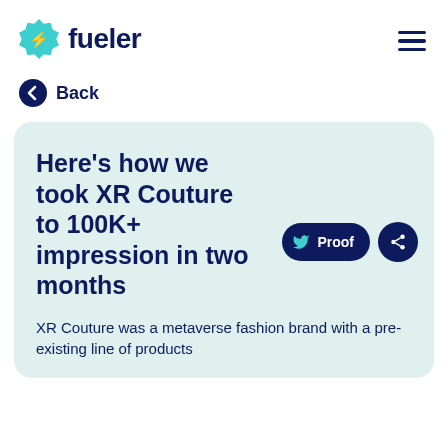fueler
Back
Here's how we took XR Couture to 100K+ impression in two months
XR Couture was a metaverse fashion brand with a pre-existing line of products